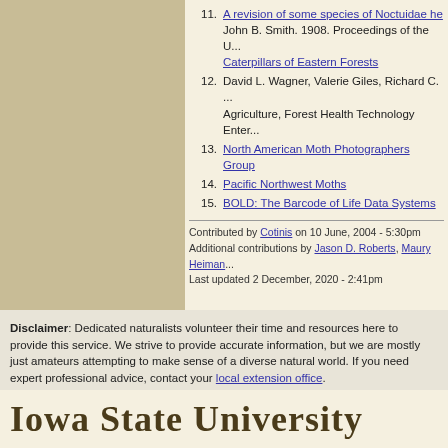11. A revision of some species of Noctuidae he... John B. Smith. 1908. Proceedings of the U...
Caterpillars of Eastern Forests
12. David L. Wagner, Valerie Giles, Richard C. ... Agriculture, Forest Health Technology Enter...
13. North American Moth Photographers Group
14. Pacific Northwest Moths
15. BOLD: The Barcode of Life Data Systems
Contributed by Cotinis on 10 June, 2004 - 5:30pm
Additional contributions by Jason D. Roberts, Maury Heiman...
Last updated 2 December, 2020 - 2:41pm
Disclaimer: Dedicated naturalists volunteer their time and resources here to provide this service. We strive to provide accurate information, but we are mostly just amateurs attempting to make sense of a diverse natural world. If you need expert professional advice, contact your local extension office.
Contributors own the copyright to and are solely responsible for contributed content.
Click the contributor's name for licensing and usage information.
Everything else copyright © 2003-2022 Iowa State University, unless otherwise noted.
Bugguide is hosted by:
IOWA STATE UNIVERSITY